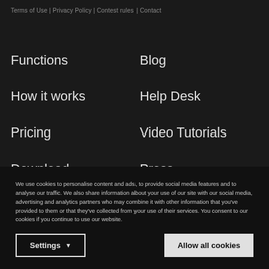Terms of Use | Privacy Policy | Contest rules | Contact
Functions
How it works
Pricing
Download
Blog
Help Desk
Video Tutorials
Press
Rouvy for Business
We use cookies to personalise content and ads, to provide social media features and to analyse our traffic. We also share information about your use of our site with our social media, advertising and analytics partners who may combine it with other information that you've provided to them or that they've collected from your use of their services. You consent to our cookies if you continue to use our website.
Settings ▼
Allow all cookies